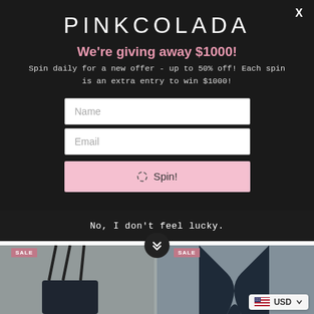PINKCOLADA
We're giving away $1000!
Spin daily for a new offer - up to 50% off! Each spin is an extra entry to win $1000!
[Figure (screenshot): Name input field (white rectangle)]
[Figure (screenshot): Email input field (white rectangle)]
[Figure (screenshot): Pink Spin! button with spinner icon]
No, I don't feel lucky.
[Figure (photo): Background website showing swimwear products with SALE tags and USD currency selector]